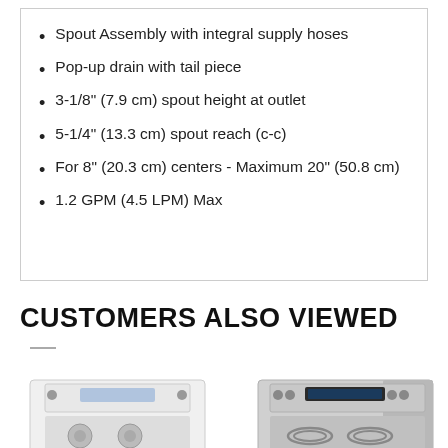Spout Assembly with integral supply hoses
Pop-up drain with tail piece
3-1/8" (7.9 cm) spout height at outlet
5-1/4" (13.3 cm) spout reach (c-c)
For 8" (20.3 cm) centers - Maximum 20" (50.8 cm)
1.2 GPM (4.5 LPM) Max
CUSTOMERS ALSO VIEWED
[Figure (photo): Two kitchen stoves/ranges shown side by side: a white gas range on the left and a stainless steel electric range on the right, with a green chat bubble icon overlay on the bottom right.]